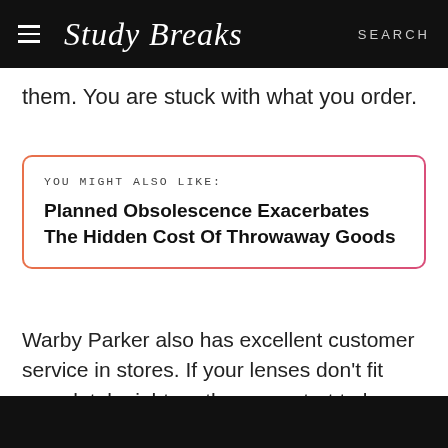Study Breaks SEARCH
them. You are stuck with what you order.
YOU MIGHT ALSO LIKE: Planned Obsolescence Exacerbates The Hidden Cost Of Throwaway Goods
Warby Parker also has excellent customer service in stores. If your lenses don't fit completely right, or the arms start to loosen — which are both very common issues — you can take your glasses to one of Warby Parker's retail